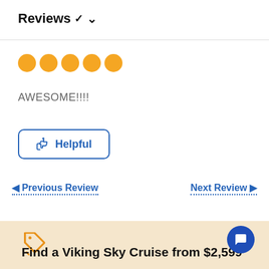Reviews ∨
[Figure (other): 5 orange filled circles representing a 5-star rating]
AWESOME!!!!
[Figure (other): Helpful button with thumbs up icon, blue border and text]
◀ Previous Review
Next Review ▶
[Figure (other): Orange price tag icon]
Find a Viking Sky Cruise from $2,599
[Figure (other): Blue circular chat/message button with white chat bubble icon]